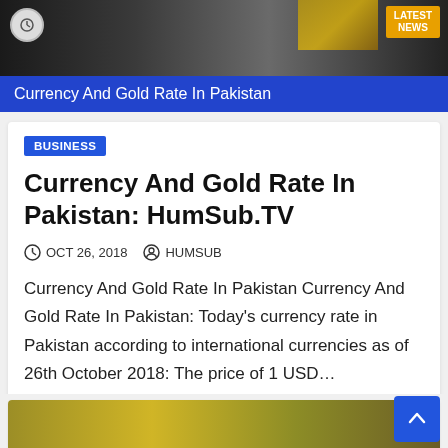[Figure (screenshot): News website banner showing 'Currency And Gold Rate In Pakistan' with blue bar and 'LATEST NEWS' badge on orange background]
BUSINESS
Currency And Gold Rate In Pakistan: HumSub.TV
OCT 26, 2018   HUMSUB
Currency And Gold Rate In Pakistan Currency And Gold Rate In Pakistan: Today’s currency rate in Pakistan according to international currencies as of 26th October 2018: The price of 1 USD…